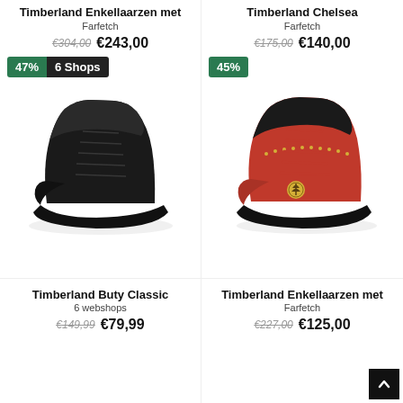Timberland Enkellaarzen met
Farfetch
€304,00  €243,00
Timberland Chelsea
Farfetch
€175,00  €140,00
[Figure (photo): Black Timberland lace-up ankle boot with 47% discount badge and 6 Shops label]
[Figure (photo): Red Timberland lace-up ankle boot with 45% discount badge]
Timberland Buty Classic
6 webshops
€149,99  €79,99
Timberland Enkellaarzen met
Farfetch
€227,00  €125,00